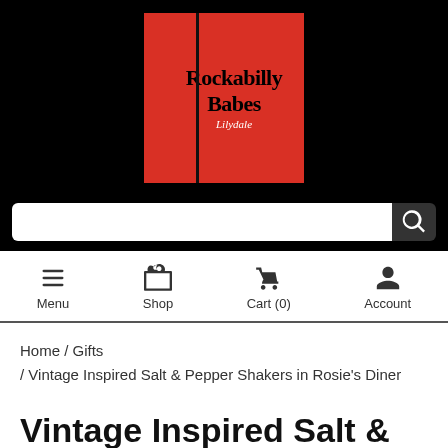[Figure (logo): Rockabilly Babes Lilydale logo — red rectangle with black text in serif font on black background]
Menu  Shop  Cart (0)  Account
Home / Gifts / Vintage Inspired Salt & Pepper Shakers in Rosie's Diner
Vintage Inspired Salt & Pepper